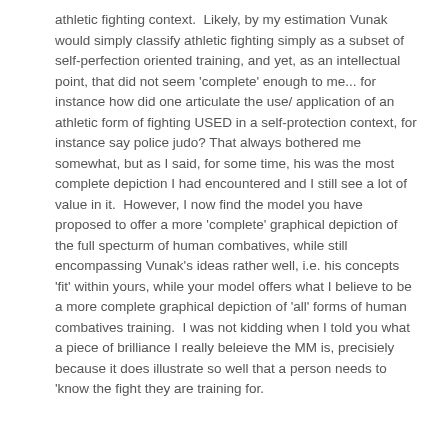athletic fighting context.  Likely, by my estimation Vunak would simply classify athletic fighting simply as a subset of self-perfection oriented training, and yet, as an intellectual point, that did not seem 'complete' enough to me... for instance how did one articulate the use/ application of an athletic form of fighting USED in a self-protection context, for instance say police judo? That always bothered me somewhat, but as I said, for some time, his was the most complete depiction I had encountered and I still see a lot of value in it.  However, I now find the model you have proposed to offer a more 'complete' graphical depiction of the full specturm of human combatives, while still encompassing Vunak's ideas rather well, i.e. his concepts 'fit' within yours, while your model offers what I believe to be a more complete graphical depiction of 'all' forms of human combatives training.  I was not kidding when I told you what a piece of brilliance I really beleieve the MM is, precisiely because it does illustrate so well that a person needs to 'know the fight they are training for.